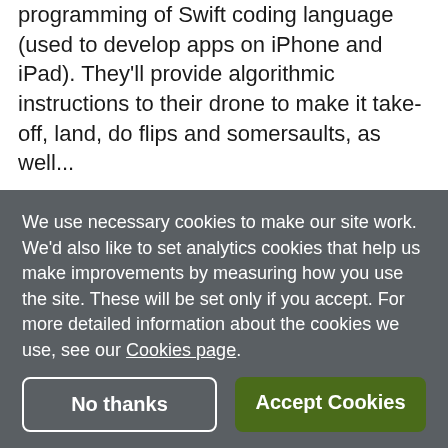programming of Swift coding language (used to develop apps on iPhone and iPad). They'll provide algorithmic instructions to their drone to make it take-off, land, do flips and somersaults, as well...
AGE RANGE: 11-14   14-16
Beginner STEMbotics: Robotics & Coding
We use necessary cookies to make our site work. We'd also like to set analytics cookies that help us make improvements by measuring how you use the site. These will be set only if you accept. For more detailed information about the cookies we use, see our Cookies page.
No thanks
Accept Cookies